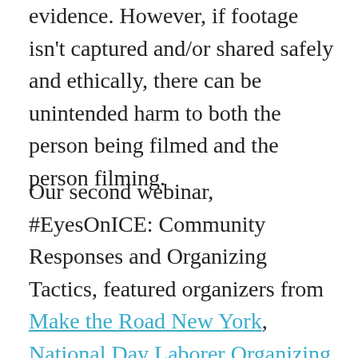evidence. However, if footage isn't captured and/or shared safely and ethically, there can be unintended harm to both the person being filmed and the person filming.
Our second webinar, #EyesOnICE: Community Responses and Organizing Tactics, featured organizers from Make the Road New York, National Day Laborer Organizing Network (NDLON), Equality for Flatbush, and Black Alliance for Just Immigration (BAJI). You can view the webinar below to learn more about their approaches, challenges, and vision for a way forward. As ICE expands the